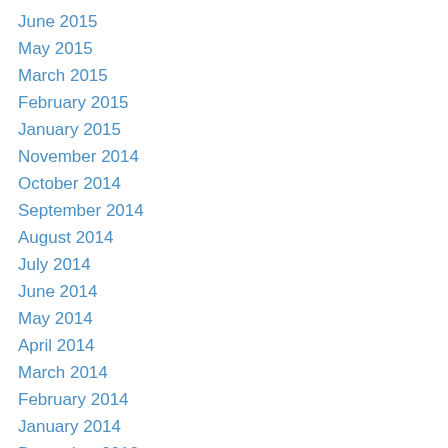June 2015
May 2015
March 2015
February 2015
January 2015
November 2014
October 2014
September 2014
August 2014
July 2014
June 2014
May 2014
April 2014
March 2014
February 2014
January 2014
December 2013
November 2013
October 2013
September 2013